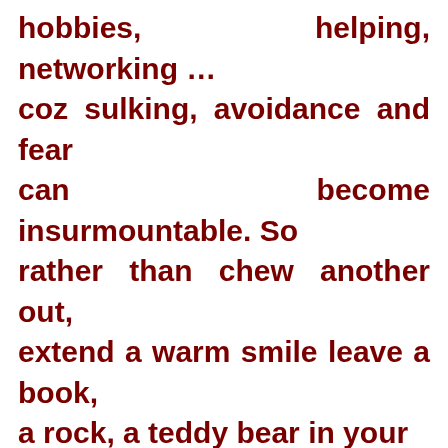hobbies, helping, networking ... coz sulking, avoidance and fear can become insurmountable. So rather than chew another out, extend a warm smile leave a book, a rock, a teddy bear in your window or on a seat ... share the love or whatever brings you joy!

As your heart opens it heals those around you. Use humour, nature,